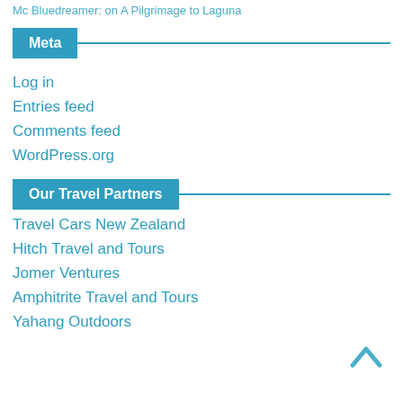Mc Bluedreamer: on A Pilgrimage to Laguna
Meta
Log in
Entries feed
Comments feed
WordPress.org
Our Travel Partners
Travel Cars New Zealand
Hitch Travel and Tours
Jomer Ventures
Amphitrite Travel and Tours
Yahang Outdoors